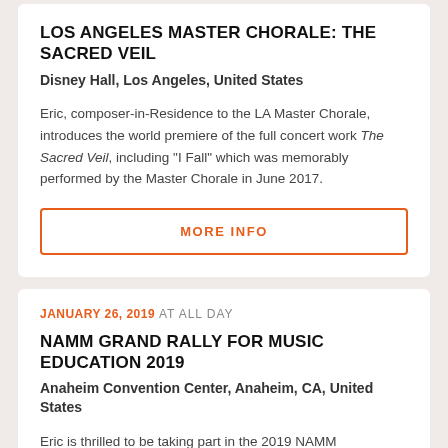LOS ANGELES MASTER CHORALE: THE SACRED VEIL
Disney Hall, Los Angeles, United States
Eric, composer-in-Residence to the LA Master Chorale, introduces the world premiere of the full concert work The Sacred Veil, including "I Fall" which was memorably performed by the Master Chorale in June 2017.
MORE INFO
JANUARY 26, 2019 AT ALL DAY
NAMM GRAND RALLY FOR MUSIC EDUCATION 2019
Anaheim Convention Center, Anaheim, CA, United States
Eric is thrilled to be taking part in the 2019 NAMM